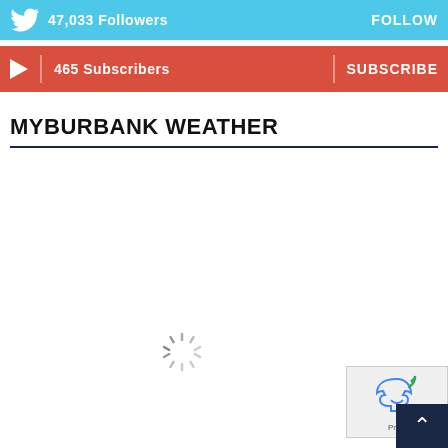[Figure (infographic): Twitter follow bar: sky-blue background with Twitter bird logo, '47,033 Followers' text on left and 'FOLLOW' button on right]
[Figure (infographic): YouTube subscribe bar: red background with play button icon, '465 Subscribers' text on left and 'SUBSCRIBE' button on right]
MYBURBANK WEATHER
[Figure (other): Loading spinner (circular dashed spinning indicator) in center of page]
[Figure (other): reCAPTCHA logo box in bottom-right corner with Privacy text]
[Figure (other): Dark navy scroll-to-top button with upward chevron arrow in bottom-right corner]